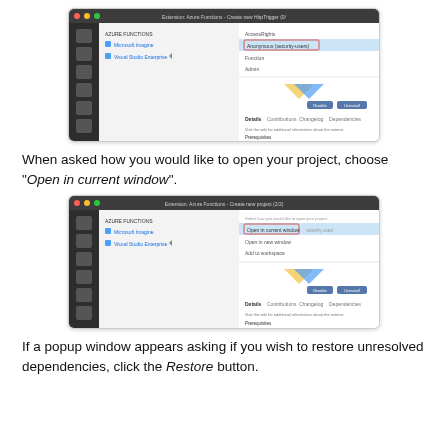[Figure (screenshot): VS Code extension manager screenshot showing a dropdown with options: AccessRights, Anonymous (security-users) highlighted in blue, Function, Admin. Extension details panel visible below.]
When asked how you would like to open your project, choose "Open in current window".
[Figure (screenshot): VS Code extension manager screenshot showing a dropdown with options: Open in current window (highlighted in blue/red outline), Open in new window, Add to workspace. Extension details panel visible below.]
If a popup window appears asking if you wish to restore unresolved dependencies, click the Restore button.